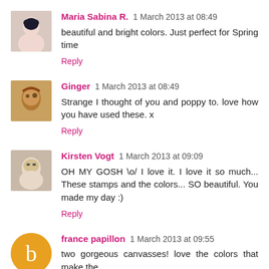Maria Sabina R. 1 March 2013 at 08:49
beautiful and bright colors. Just perfect for Spring time
Reply
Ginger 1 March 2013 at 08:49
Strange I thought of you and poppy to. love how you have used these. x
Reply
Kirsten Vogt 1 March 2013 at 09:09
OH MY GOSH \o/ I love it. I love it so much... These stamps and the colors... SO beautiful. You made my day :)
Reply
france papillon 1 March 2013 at 09:55
two gorgeous canvasses! love the colors that make the